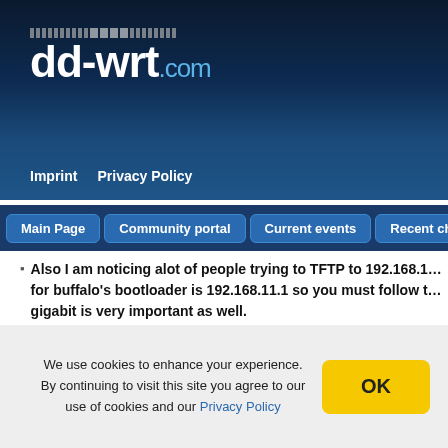[Figure (logo): dd-wrt.com logo with dot pattern above on dark blue gradient background]
Imprint   Privacy Policy
Main Page   Community portal   Current events   Recent changes
Also I am noticing alot of people trying to TFTP to 192.168.1... for buffalo's bootloader is 192.168.11.1 so you must follow t... gigabit is very important as well.
Category: Buffalo
Article
We use cookies to enhance your experience. By continuing to visit this site you agree to our use of cookies and our Privacy Policy